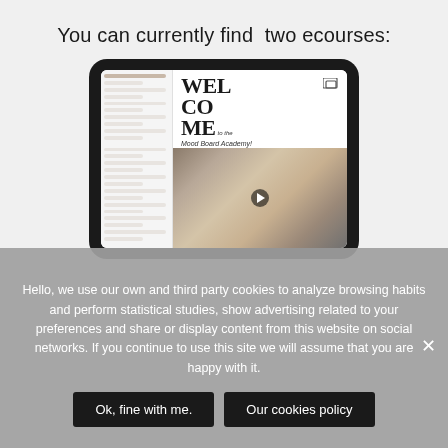You can currently find two ecourses:
[Figure (screenshot): A tablet device displaying a welcome screen for the Mood Board Academy ecourse, with a sidebar navigation panel on the left and a welcome message 'WELCOME to the Mood Board Academy!' on the right, along with a video thumbnail showing design materials.]
Hello, we use our own and third party cookies to analyze browsing habits and perform statistical studies, show advertising related to your preferences and share or display content from this website on social networks. If you continue to use this site we will assume that you are happy with it.
Ok, fine with me.
Our cookies policy